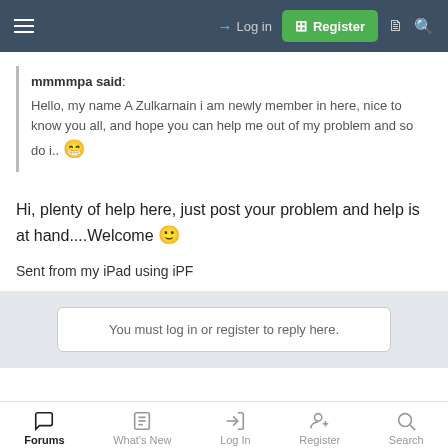Login | Register
mmmmpa said: Hello, my name A Zulkarnain i am newly member in here, nice to know you all, and hope you can help me out of my problem and so do i.. 😀
Hi, plenty of help here, just post your problem and help is at hand....Welcome 🙂
Sent from my iPad using iPF
You must log in or register to reply here.
Forums | What's New | Log In | Register | Search